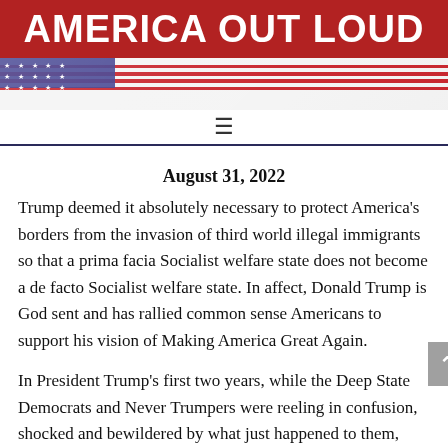AMERICA OUT LOUD
[Figure (illustration): American flag background with horizontal red and white stripes and blue canton with white stars, used as decorative header banner]
≡
August 31, 2022
Trump deemed it absolutely necessary to protect America's borders from the invasion of third world illegal immigrants so that a prima facia Socialist welfare state does not become a de facto Socialist welfare state. In affect, Donald Trump is God sent and has rallied common sense Americans to support his vision of Making America Great Again.
In President Trump's first two years, while the Deep State Democrats and Never Trumpers were reeling in confusion, shocked and bewildered by what just happened to them, Trump immediately set about